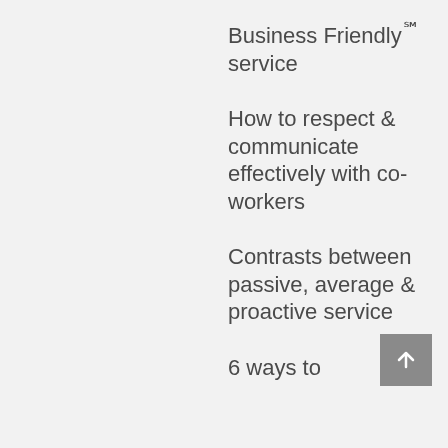Business Friendly℠ service
How to respect & communicate effectively with co-workers
Contrasts between passive, average & proactive service
6 ways to